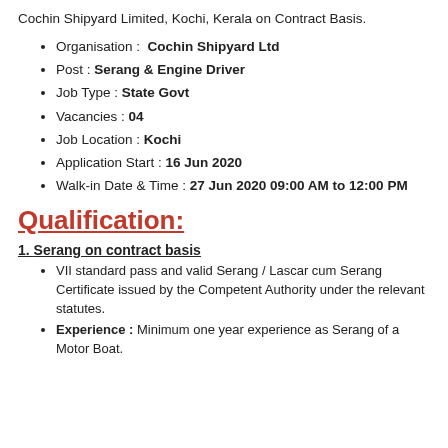Cochin Shipyard Limited, Kochi, Kerala on Contract Basis.
Organisation :  Cochin Shipyard Ltd
Post : Serang & Engine Driver
Job Type : State Govt
Vacancies : 04
Job Location : Kochi
Application Start : 16 Jun 2020
Walk-in Date & Time : 27 Jun 2020 09:00 AM to 12:00 PM
Qualification:
1. Serang on contract basis
VII standard pass and valid Serang / Lascar cum Serang Certificate issued by the Competent Authority under the relevant statutes.
Experience : Minimum one year experience as Serang of a Motor Boat.